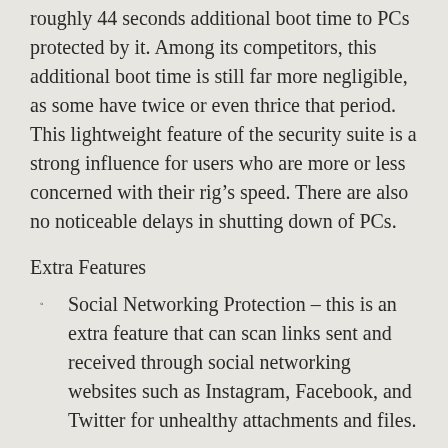roughly 44 seconds additional boot time to PCs protected by it. Among its competitors, this additional boot time is still far more negligible, as some have twice or even thrice that period. This lightweight feature of the security suite is a strong influence for users who are more or less concerned with their rig’s speed. There are also no noticeable delays in shutting down of PCs.
Extra Features
Social Networking Protection – this is an extra feature that can scan links sent and received through social networking websites such as Instagram, Facebook, and Twitter for unhealthy attachments and files.
Game mode – protects and streamlines connection during gaming so that lags